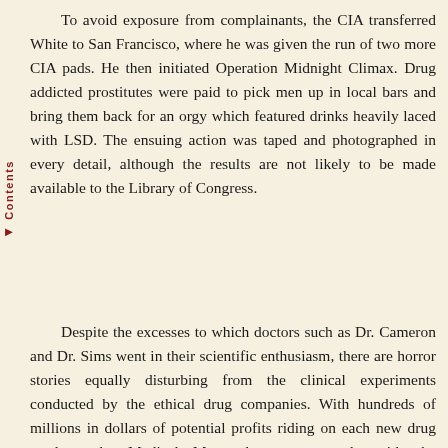To avoid exposure from complainants, the CIA transferred White to San Francisco, where he was given the run of two more CIA pads. He then initiated Operation Midnight Climax. Drug addicted prostitutes were paid to pick men up in local bars and bring them back for an orgy which featured drinks heavily laced with LSD. The ensuing action was taped and photographed in every detail, although the results are not likely to be made available to the Library of Congress.
Despite the excesses to which doctors such as Dr. Cameron and Dr. Sims went in their scientific enthusiasm, there are horror stories equally disturbing from the clinical experiments conducted by the ethical drug companies. With hundreds of millions in dollars of potential profits riding on each new drug product, the Medical Monopoly must comply with the regulations which they themselves have drafted and put into place. The purpose of the regulations is to protect the market share of a new wonder drug until it can be replaced by a newer